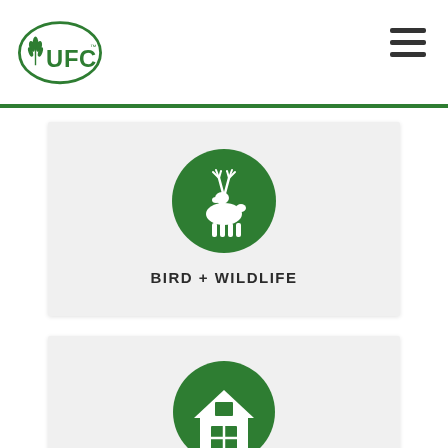[Figure (logo): UFC (United Farm Centers) logo — green oval with wheat stalks and UFC text]
[Figure (illustration): Green circle with white deer/wildlife silhouette icon]
BIRD + WILDLIFE
[Figure (illustration): Green circle with white barn silhouette icon]
FARM SUPPLIES